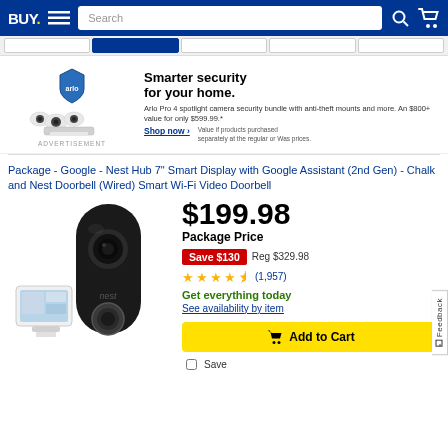BUY. Search
[Figure (screenshot): Best Buy navigation header with logo, hamburger menu, search bar, and cart icon on blue background]
[Figure (photo): Advertisement banner: Arlo Pro 4 spotlight cameras with shield logo. Text: Smarter security for your home. Arlo Pro 4 spotlight camera security bundle with anti-theft mounts and more. An $800+ value for only $599.99.* Shop now > Value if products purchased separately at the regular or Was prices.]
ADVERTISEMENT
Package - Google - Nest Hub 7" Smart Display with Google Assistant (2nd Gen) - Chalk and Nest Doorbell (Wired) Smart Wi-Fi Video Doorbell
[Figure (photo): Google Nest Hub smart display (white, small tablet-like device) and Google Nest Doorbell Wired (black, rounded rectangular doorbell camera with 'nest' branding)]
$199.98
Package Price
Save $130  Reg $329.98
(1,957)
Get everything today
See availability by item
Add to Cart
Save